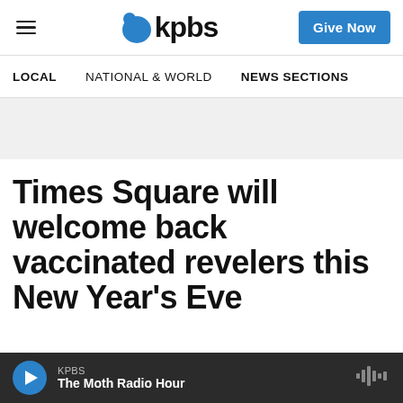KPBS | Give Now
LOCAL   NATIONAL & WORLD   NEWS SECTIONS
Times Square will welcome back vaccinated revelers this New Year's Eve
KPBS — The Moth Radio Hour